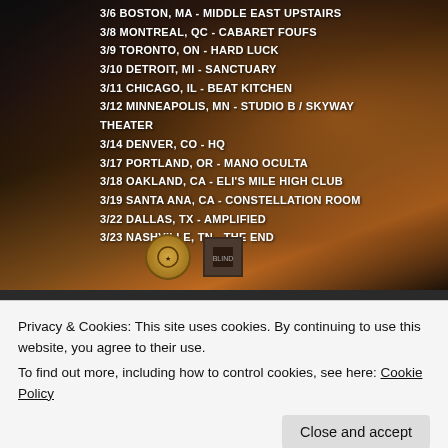[Figure (photo): Concert tour poster with dark textured background showing abstract orange/brown paint-like imagery. Tour dates listed in white bold text on left side.]
3/6 BOSTON, MA - MIDDLE EAST UPSTAIRS
3/8 MONTREAL, QC - CABARET FOUFS
3/9 TORONTO, ON - HARD LUCK
3/10 DETROIT, MI - SANCTUARY
3/11 CHICAGO, IL - BEAT KITCHEN
3/12 MINNEAPOLIS, MN - STUDIO B / SKYWAY THEATER
3/14 DENVER, CO - HQ
3/17 PORTLAND, OR - MANO OCULTA
3/18 OAKLAND, CA - ELI'S MILE HIGH CLUB
3/19 SANTA ANA, CA - CONSTELLATION ROOM
3/22 DALLAS, TX - AMPLIFIED
3/23 NASHVILLE, TN - THE END
[Figure (screenshot): Advertisement with teal/green gradient background showing text 'Create immersive stories.' with photo thumbnails on right side.]
Privacy & Cookies: This site uses cookies. By continuing to use this website, you agree to their use.
To find out more, including how to control cookies, see here: Cookie Policy
Close and accept